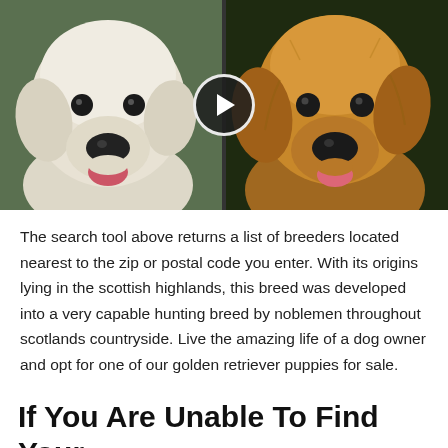[Figure (photo): Side-by-side comparison photo of two golden retrievers: a white/cream English Cream Golden Retriever on the left and a golden/brown Golden Retriever on the right, with a play button overlay in the center indicating a video.]
The search tool above returns a list of breeders located nearest to the zip or postal code you enter. With its origins lying in the scottish highlands, this breed was developed into a very capable hunting breed by noblemen throughout scotlands countryside. Live the amazing life of a dog owner and opt for one of our golden retriever puppies for sale.
If You Are Unable To Find Your English Cream Golden Retriever